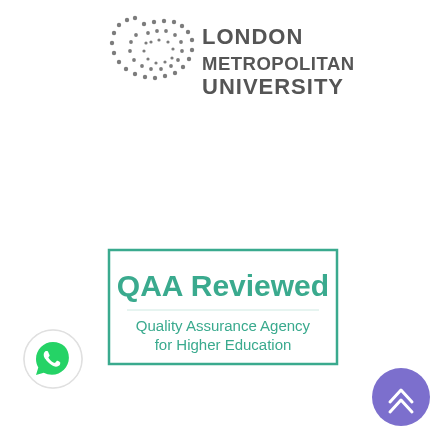[Figure (logo): London Metropolitan University logo: circular dot pattern on the left and bold text 'LONDON METROPOLITAN UNIVERSITY' on the right, in dark grey]
[Figure (logo): QAA Reviewed badge: teal/green rectangular border containing bold teal text 'QAA Reviewed' and smaller teal text 'Quality Assurance Agency for Higher Education']
[Figure (illustration): WhatsApp icon in a white circular button with grey shadow, positioned at bottom left]
[Figure (illustration): Purple/violet circular scroll-to-top button with double chevron up arrows, positioned at bottom right]